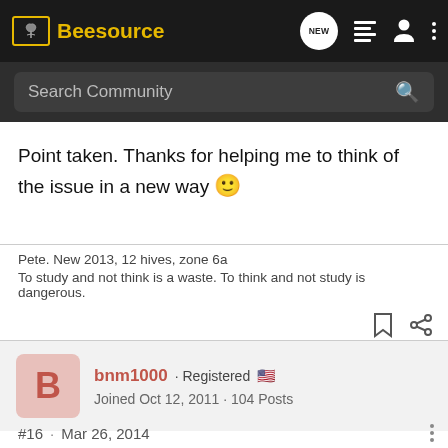Beesource
Search Community
Point taken. Thanks for helping me to think of the issue in a new way 🙂
Pete. New 2013, 12 hives, zone 6a
To study and not think is a waste. To think and not study is dangerous.
bnm1000 · Registered 🇺🇸
Joined Oct 12, 2011 · 104 Posts
#16 · Mar 26, 2014
Bees are an interesting "livestock". We claim they are ours,